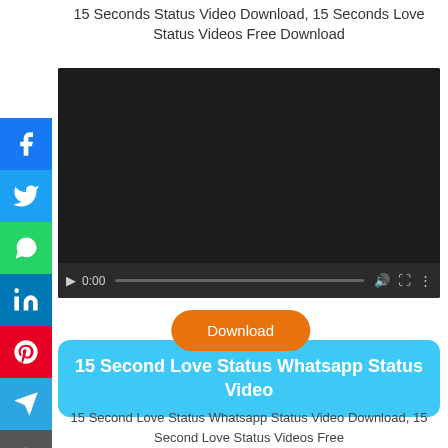15 Seconds Status Video Download, 15 Seconds Love Status Videos Free Download
[Figure (screenshot): Embedded video player showing black screen with play button, timestamp 0:00, and media controls including mute, fullscreen, and options buttons]
[Figure (other): Orange Download button with rounded corners]
15 Second Love Status Whatsapp Status Video
15 Second Love Status Whatsapp Status Video Download, 15 Second Love Status Videos Free